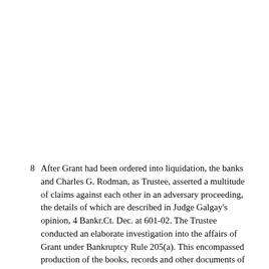After Grant had been ordered into liquidation, the banks and Charles G. Rodman, as Trustee, asserted a multitude of claims against each other in an adversary proceeding, the details of which are described in Judge Galgay's opinion, 4 Bankr.Ct. Dec. at 601-02. The Trustee conducted an elaborate investigation into the affairs of Grant under Bankruptcy Rule 205(a). This encompassed production of the books, records and other documents of Grant, and examination of its remaining and former officers, directors and employees. Before any extensive discovery by the banks, settlement negotiations were instituted. These resulted in an agreement which, in addition to settling the claims of the banks, encompassed what Judge Galgay